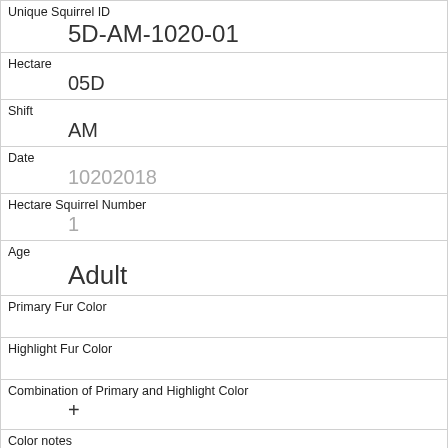| Unique Squirrel ID | 5D-AM-1020-01 |
| Hectare | 05D |
| Shift | AM |
| Date | 10202018 |
| Hectare Squirrel Number | 1 |
| Age | Adult |
| Primary Fur Color |  |
| Highlight Fur Color |  |
| Combination of Primary and Highlight Color | + |
| Color notes | Too far & cloudy to tell |
| Location |  |